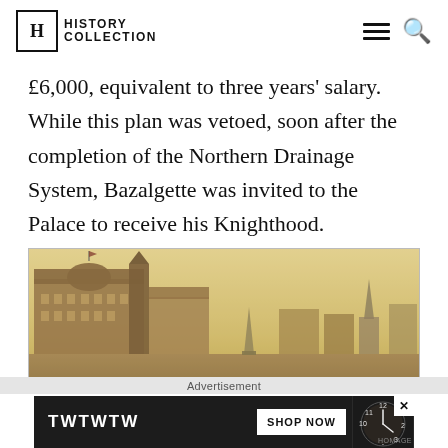HISTORY COLLECTION
£6,000, equivalent to three years' salary. While this plan was vetoed, soon after the completion of the Northern Drainage System, Bazalgette was invited to the Palace to receive his Knighthood.
[Figure (photo): Sepia-toned historical photograph of a grand Victorian-era building and city skyline, likely along an embankment in London]
Advertisement
[Figure (infographic): Advertisement banner showing 'TWTWTW SHOP NOW' with a watch/clock image and HOMAGE branding]